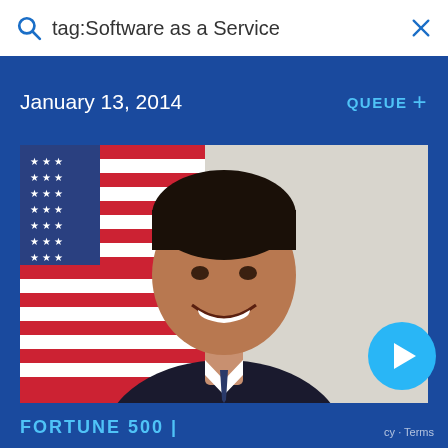tag:Software as a Service
January 13, 2014
QUEUE +
[Figure (photo): Official portrait photo of a man in a dark suit smiling, with an American flag visible in the background]
FORTUNE 500 |